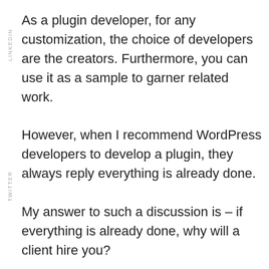As a plugin developer, for any customization, the choice of developers are the creators. Furthermore, you can use it as a sample to garner related work.

However, when I recommend WordPress developers to develop a plugin, they always reply everything is already done.

My answer to such a discussion is – if everything is already done, why will a client hire you?

So no, everything is not developed yet. It may be that whatever little you want to do is already developed. However, you have to think beyond